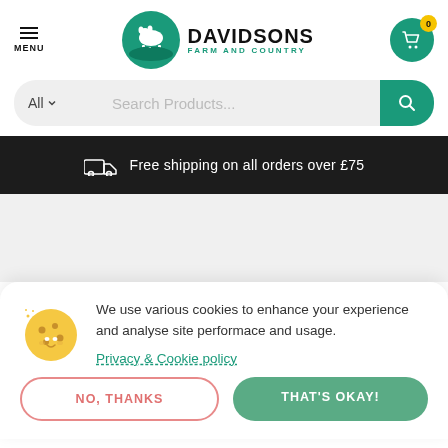[Figure (logo): Davidsons Farm and Country logo with tractor/farm icon in teal circle]
MENU | DAVIDSONS FARM AND COUNTRY | Cart 0
Search Products...
Free shipping on all orders over £75
We use various cookies to enhance your experience and analyse site performace and usage.
Privacy & Cookie policy
NO, THANKS
THAT'S OKAY!